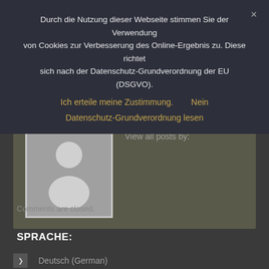Durch die Nutzung dieser Webseite stimmen Sie der Verwendung von Cookies zur Verbesserung des Online-Ergebnis zu. Diese richtet sich nach der Datenschutz-Grundverordnung der EU (DSGVO).
Ich erteile meine Zustimmung.   Nein
Datenschutz-Grundverordnung lesen
WRITTEN BY
[Figure (illustration): Default user avatar placeholder image showing a silhouette of a person in grey]
View all posts by:
Comments are closed.
SPRACHE:
Deutsch (German)